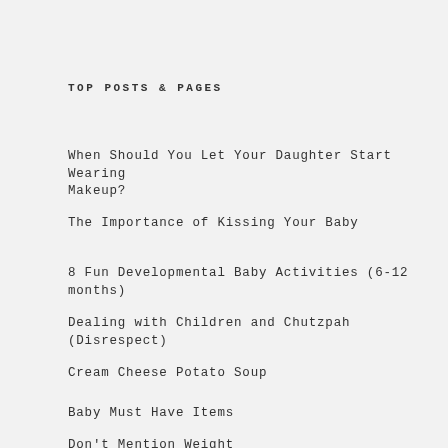TOP POSTS & PAGES
When Should You Let Your Daughter Start Wearing Makeup?
The Importance of Kissing Your Baby
8 Fun Developmental Baby Activities (6-12 months)
Dealing with Children and Chutzpah (Disrespect)
Cream Cheese Potato Soup
Baby Must Have Items
Don't Mention Weight